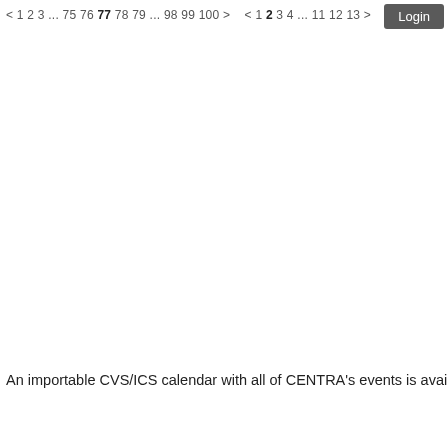< 1 2 3 ... 75 76 77 78 79 ... 98 99 100 >    < 1 2 3 4 ... 11 12 13 >
An importable CVS/ICS calendar with all of CENTRA's events is avail